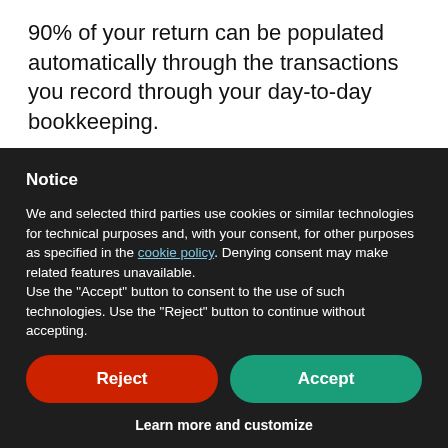90% of your return can be populated automatically through the transactions you record through your day-to-day bookkeeping.

Each year, you simply review the return, add
Notice
We and selected third parties use cookies or similar technologies for technical purposes and, with your consent, for other purposes as specified in the cookie policy. Denying consent may make related features unavailable.
Use the "Accept" button to consent to the use of such technologies. Use the "Reject" button to continue without accepting.
Reject
Accept
Learn more and customize